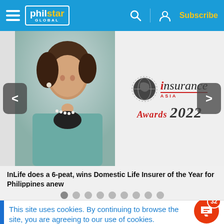philstar GLOBAL — Subscribe
[Figure (photo): Carousel image showing a woman in a teal blazer with pearl necklace on the left, and the Insurance Asia Awards 2022 logo on the right. Navigation arrows on both sides.]
InLife does a 6-peat, wins Domestic Life Insurer of the Year for Philippines anew
This site uses cookies. By continuing to browse the site, you are agreeing to our use of cookies.